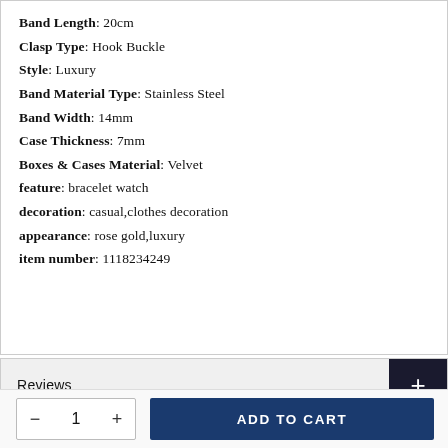Band Length: 20cm
Clasp Type: Hook Buckle
Style: Luxury
Band Material Type: Stainless Steel
Band Width: 14mm
Case Thickness: 7mm
Boxes & Cases Material: Velvet
feature: bracelet watch
decoration: casual,clothes decoration
appearance: rose gold,luxury
item number: 1118234249
Reviews
FAQS
ADD TO CART